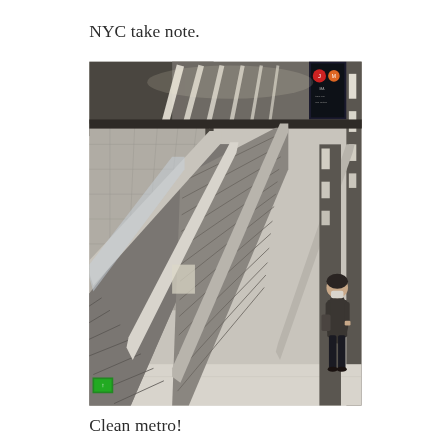NYC take note.
[Figure (photo): Indoor metro/subway station showing clean, modern escalators with polished metal railings and staircase. The station has bright linear ceiling lights, tiled walls, and a person wearing a mask standing near the bottom right. A digital information board is visible in the upper right corner.]
Clean metro!